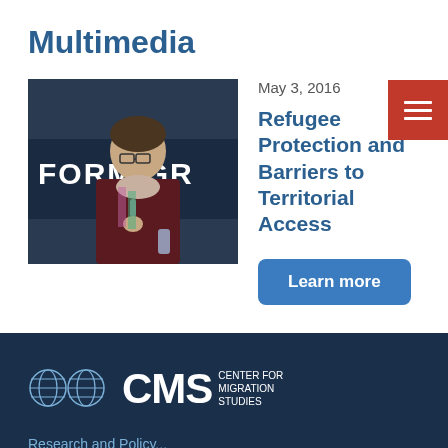Multimedia
May 3, 2016
[Figure (photo): Woman with glasses and scarf speaking at a microphone in front of a sign reading FORMIGR (partial), at an event related to migration.]
Refugee Protection and Barriers to Territorial Access
Learn more
[Figure (logo): Center for Migration Studies (CMS) logo with two globe icons and text CMS CENTER FOR MIGRATION STUDIES on dark navy background]
Research and Policy...